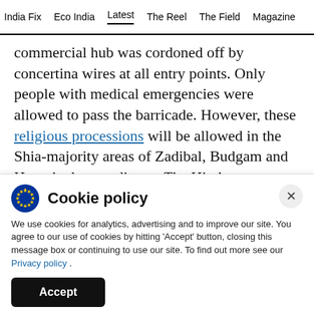India Fix   Eco India   Latest   The Reel   The Field   Magazine
commercial hub was cordoned off by concertina wires at all entry points. Only people with medical emergencies were allowed to pass the barricade. However, these religious processions will be allowed in the Shia-majority areas of Zadibal, Budgam and Hasnabad, according to The Hindu.
Cookie policy
We use cookies for analytics, advertising and to improve our site. You agree to our use of cookies by hitting 'Accept' button, closing this message box or continuing to use our site. To find out more see our Privacy policy .
Accept